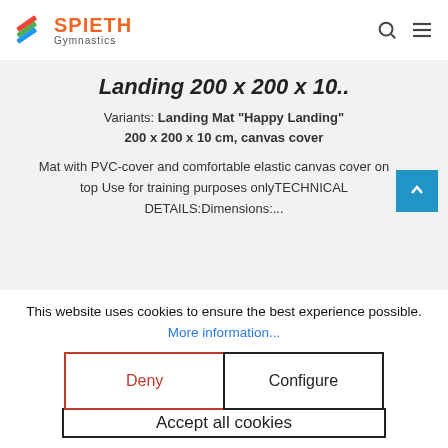[Figure (logo): Spieth Gymnastics logo with colored diagonal stripes icon and orange SPIETH text]
Landing 200 x 200 x 10..
Variants: Landing Mat "Happy Landing" 200 x 200 x 10 cm, canvas cover
Mat with PVC-cover and comfortable elastic canvas cover on top Use for training purposes onlyTECHNICAL DETAILS:Dimensions:...
This website uses cookies to ensure the best experience possible.
More information...
Deny
Configure
Accept all cookies